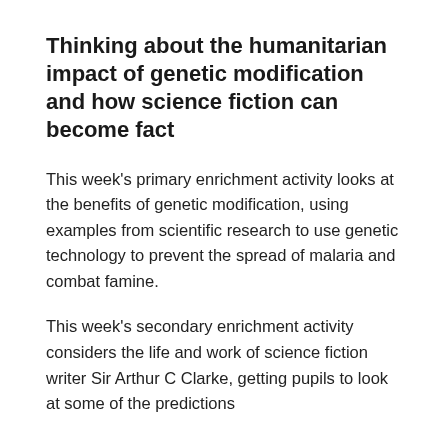Thinking about the humanitarian impact of genetic modification and how science fiction can become fact
This week's primary enrichment activity looks at the benefits of genetic modification, using examples from scientific research to use genetic technology to prevent the spread of malaria and combat famine.
This week's secondary enrichment activity considers the life and work of science fiction writer Sir Arthur C Clarke, getting pupils to look at some of the predictions